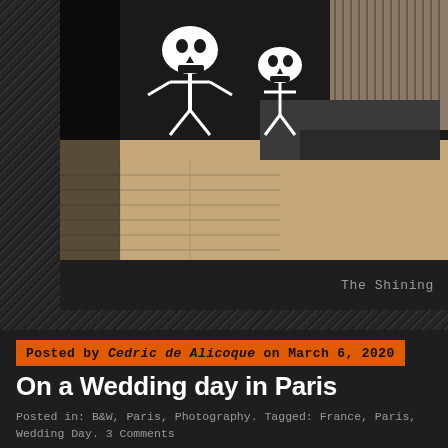[Figure (photo): Street art photo showing black and white skeleton graffiti mural on a wall, with stone steps and corrugated metal in background, partial view cropped at right edge]
The Shining
Posted by Cedric de Alicoque on March 6, 2020
On a Wedding day in Paris
Posted in: B&W, Paris, Photography. Tagged: France, Paris, Wedding Day. 3 Comments
The Explanade du Trocadéro is an exqu